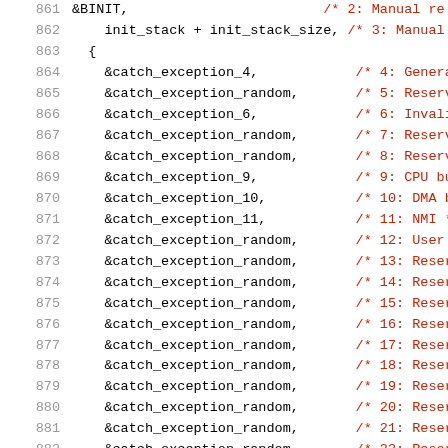Code listing lines 861-882, showing exception handler table entries in C source code with line numbers and inline comments.